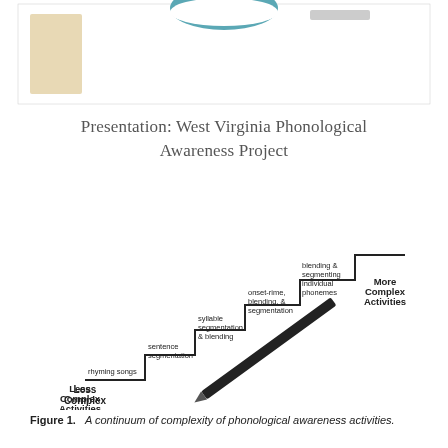[Figure (other): Page header with a teal/blue bowl-like logo at top center, a beige/tan rectangle on the left, on a white background with a thin border.]
Presentation: West Virginia Phonological Awareness Project
[Figure (infographic): A staircase diagram showing a continuum of complexity of phonological awareness activities. Steps rise from lower-left to upper-right. Bottom-left label: 'Less Complex Activities'. Top-right label: 'More Complex Activities'. Steps from bottom to top: 'rhyming songs', 'sentence segmentation', 'syllable segmentation & blending', 'onset-rime, blending, & segmentation', 'blending & segmenting individual phonemes'. A dark diagonal arrow/pencil runs from lower-right to upper-right across the steps.]
Figure 1.   A continuum of complexity of phonological awareness activities.